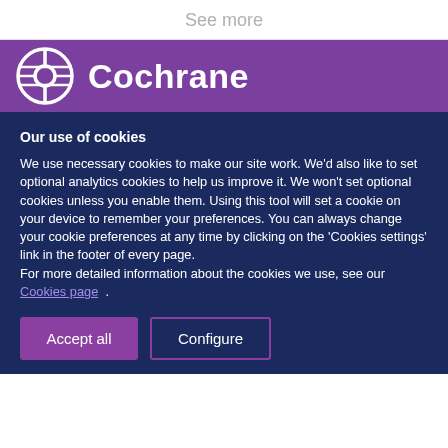See more
[Figure (logo): Cochrane logo: circular icon with horizontal lines and a circle, white on purple background, with bold white text 'Cochrane']
Our use of cookies
We use necessary cookies to make our site work. We'd also like to set optional analytics cookies to help us improve it. We won't set optional cookies unless you enable them. Using this tool will set a cookie on your device to remember your preferences. You can always change your cookie preferences at any time by clicking on the 'Cookies settings' link in the footer of every page.
For more detailed information about the cookies we use, see our Cookies page .
Accept all | Configure